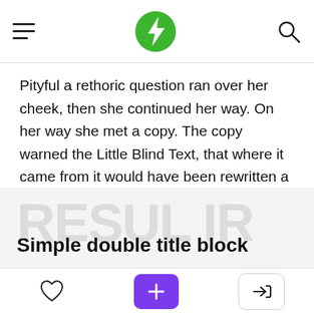Navigation bar with hamburger menu, lightning bolt logo, and search icon
Pityful a rethoric question ran over her cheek, then she continued her way. On her way she met a copy. The copy warned the Little Blind Text, that where it came from it would have been rewritten a thousand times and everything that was left from its origin would be the word “and” and the Little
Simple double title block
Action bar with heart, plus, and login buttons